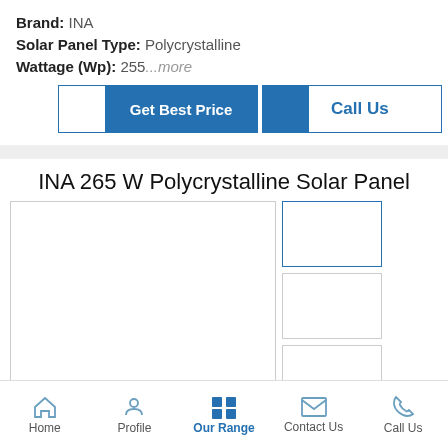Brand: INA
Solar Panel Type: Polycrystalline
Wattage (Wp): 255...more
Get Best Price | Call Us
INA 265 W Polycrystalline Solar Panel
[Figure (photo): Product image gallery placeholder with main large panel image and two smaller thumbnail images on the right side]
Home | Profile | Our Range | Contact Us | Call Us